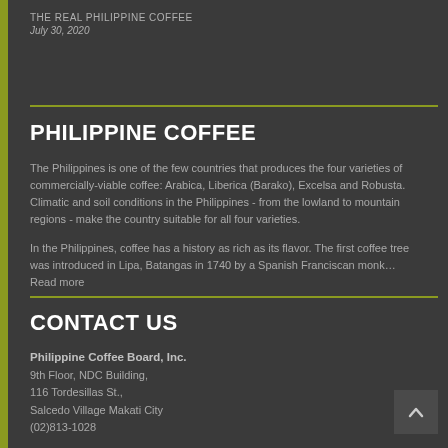THE REAL PHILIPPINE COFFEE
July 30, 2020
PHILIPPINE COFFEE
The Philippines is one of the few countries that produces the four varieties of commercially-viable coffee: Arabica, Liberica (Barako), Excelsa and Robusta. Climatic and soil conditions in the Philippines - from the lowland to mountain regions - make the country suitable for all four varieties.
In the Philippines, coffee has a history as rich as its flavor. The first coffee tree was introduced in Lipa, Batangas in 1740 by a Spanish Franciscan monk… Read more
CONTACT US
Philippine Coffee Board, Inc.
9th Floor, NDC Building,
116 Tordesillas St.,
Salcedo Village Makati City
(02)813-1028
admin.pcbi@gmail.com